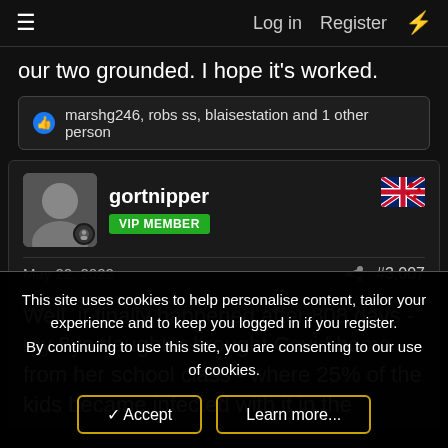Log in  Register
our two grounded. I hope it's worked.
👍 marshg246, robs ss, blaisestation and 1 other person
gortnipper
VIP MEMBER
May 22, 2022  #3,007
Well, it finally happened after 808 days - my 8yo daughter brought Covid home from her school class - where 25% of the kids became infected with it in the
This site uses cookies to help personalise content, tailor your experience and to keep you logged in if you register.
By continuing to use this site, you are consenting to our use of cookies.